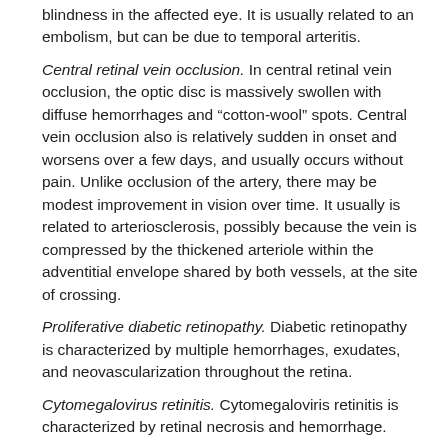blindness in the affected eye. It is usually related to an embolism, but can be due to temporal arteritis.
Central retinal vein occlusion. In central retinal vein occlusion, the optic disc is massively swollen with diffuse hemorrhages and “cotton-wool” spots. Central vein occlusion also is relatively sudden in onset and worsens over a few days, and usually occurs without pain. Unlike occlusion of the artery, there may be modest improvement in vision over time. It usually is related to arteriosclerosis, possibly because the vein is compressed by the thickened arteriole within the adventitial envelope shared by both vessels, at the site of crossing.
Proliferative diabetic retinopathy. Diabetic retinopathy is characterized by multiple hemorrhages, exudates, and neovascularization throughout the retina.
Cytomegalovirus retinitis. Cytomegaloviris retinitis is characterized by retinal necrosis and hemorrhage.
Leber’s hereditary optic atrophy. This hereditary condition is caused by a mutation in mitochondrial deoxyribonucleic acid (DNA). It commonly occurs in young men, who develop visual loss culminating in blindness in both eyes within months.
Lesions of the optic chiasm. Bitemporal hemianopia